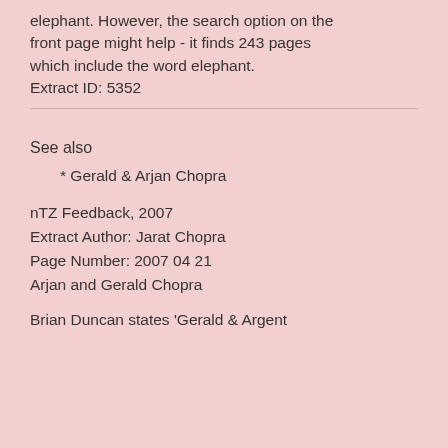elephant. However, the search option on the front page might help - it finds 243 pages which include the word elephant.
Extract ID: 5352
See also
* Gerald & Arjan Chopra
nTZ Feedback, 2007
Extract Author: Jarat Chopra
Page Number: 2007 04 21
Arjan and Gerald Chopra
Brian Duncan states 'Gerald & Argent